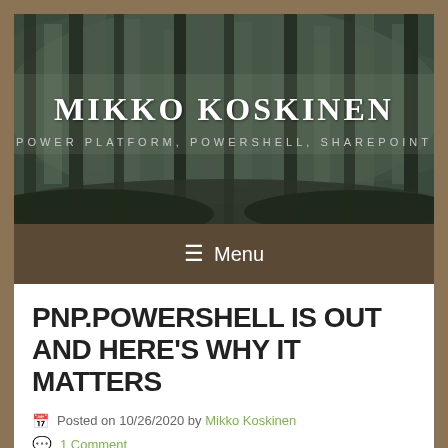[Figure (photo): Forest banner image with dark misty trees, overlaid with blog title 'MIKKO KOSKINEN' and subtitle 'POWER PLATFORM, POWERSHELL, SHAREPOINT']
≡  Menu
PNP.POWERSHELL IS OUT AND HERE'S WHY IT MATTERS
Posted on 10/26/2020 by Mikko Koskinen
1 Comment